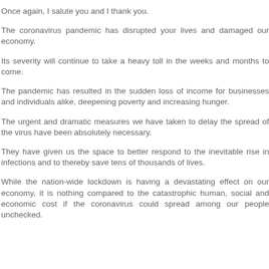Once again, I salute you and I thank you.
The coronavirus pandemic has disrupted your lives and damaged our economy.
Its severity will continue to take a heavy toll in the weeks and months to come.
The pandemic has resulted in the sudden loss of income for businesses and individuals alike, deepening poverty and increasing hunger.
The urgent and dramatic measures we have taken to delay the spread of the virus have been absolutely necessary.
They have given us the space to better respond to the inevitable rise in infections and to thereby save tens of thousands of lives.
While the nation-wide lockdown is having a devastating effect on our economy, it is nothing compared to the catastrophic human, social and economic cost if the coronavirus could spread among our people unchecked.